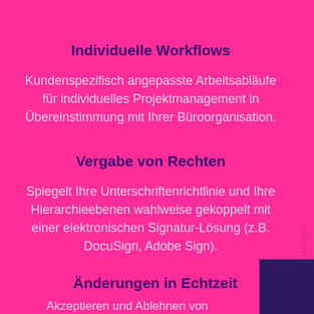Individuelle Workflows
Kundenspezifisch angepasste Arbeitsabläufe für individuelles Projektmanagement in Übereinstimmung mit Ihrer Büroorganisation.
Vergabe von Rechten
Spiegelt Ihre Unterschriftenrichtlinie und Ihre Hierarchieebenen wahlweise gekoppelt mit einer elektronischen Signatur-Lösung (z.B. DocuSign, Adobe Sign).
Änderungen in Echtzeit
Akzeptieren und Ablehnen von Textänderungen, einzeln oder Abschnittsweise im gesamten Dokument, für alle berechtigten Nutzer sofort sichtbar und konform mit Ihren.